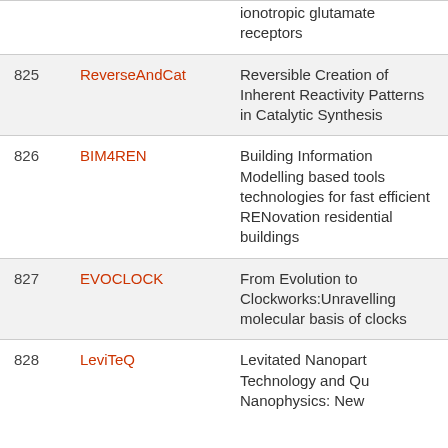| # | Name | Title |
| --- | --- | --- |
|  |  | ionotropic glutamate receptors |
| 825 | ReverseAndCat | Reversible Creation of Inherent Reactivity Patterns in Catalytic Synthesis |
| 826 | BIM4REN | Building Information Modelling based tools technologies for fast efficient RENovation residential buildings |
| 827 | EVOCLOCK | From Evolution to Clockworks:Unravelling molecular basis of clocks |
| 828 | LeviTeQ | Levitated Nanoparticle Technology and Quantum Nanophysics: New |